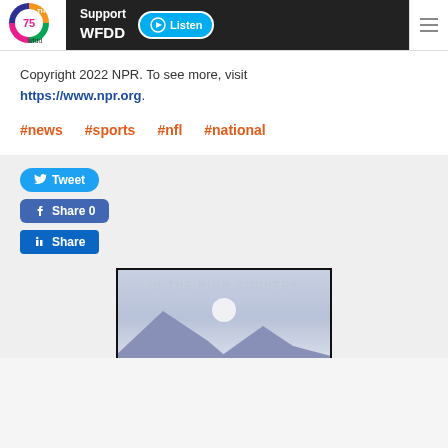[Figure (logo): WFDD 75th anniversary logo with colorful circular design]
Support WFDD
Listen
Copyright 2022 NPR. To see more, visit https://www.npr.org.
#news
#sports
#nfl
#national
Tweet
Share 0
Share
[Figure (illustration): IN THE HIGH COUNTRY illustrated image with mountains and moon on light blue-grey background]